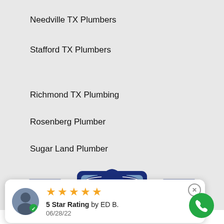Needville TX Plumbers
Stafford TX Plumbers
Richmond TX Plumbing
Rosenberg Plumber
Sugar Land Plumber
[Figure (logo): Cowboy hat plumbing services logo in dark blue with building/house icons]
[Figure (other): Review card with 5 star rating by ED B. on 06/28/22, with avatar and phone call button]